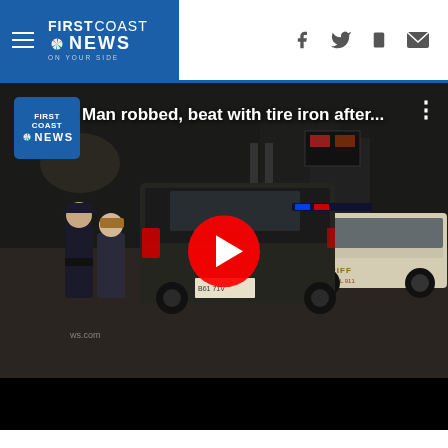First Coast News
[Figure (screenshot): Video player showing night-time parking lot scene with police officers and vehicles. Title overlay reads 'Man robbed, beat with tire iron after...' with First Coast News logo. Large red YouTube-style play button in center.]
[Figure (logo): Partial First Coast News logo visible at bottom of page in blue bar]